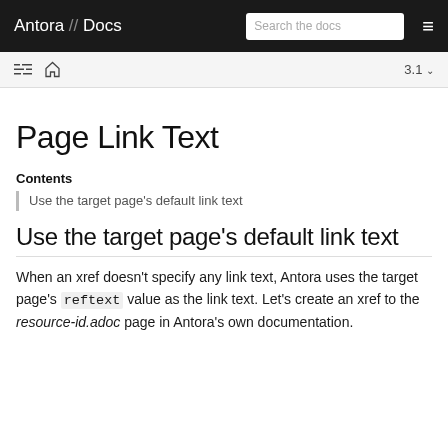Antora // Docs  Search the docs  ≡  3.1
Page Link Text
Contents
Use the target page's default link text
Use the target page's default link text
When an xref doesn't specify any link text, Antora uses the target page's reftext value as the link text. Let's create an xref to the resource-id.adoc page in Antora's own documentation.